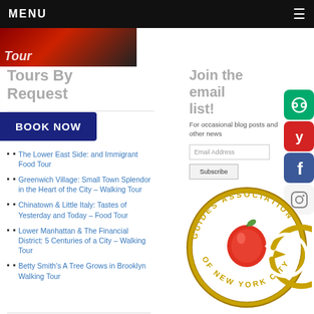MENU
[Figure (photo): Partially visible tour banner image with red and dark tones, showing partial text 'Tour']
Tours By Request
The Lower East Side: and Immigrant ood Tour
Greenwich Village: Small Town Splendor in the Heart of the City – Walking Tour
Chinatown & Little Italy: Tastes of Yesterday and Today – Food Tour
Lower Manhattan & The Financial District: 5 Centuries of a City – Walking Tour
Betty Smith's A Tree Grows in Brooklyn Walking Tour
Join the email list!
For occasional blog posts and other news
[Figure (logo): Guides Association of New York City circular logo with apple and arrow emblem in gold and red]
[Figure (logo): TripAdvisor green icon]
[Figure (logo): Yelp red icon]
[Figure (logo): Facebook blue icon]
[Figure (logo): Instagram icon]